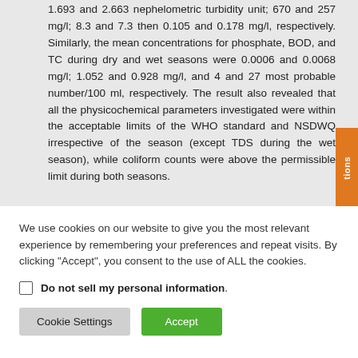1.693 and 2.663 nephelometric turbidity unit; 670 and 257 mg/l; 8.3 and 7.3 then 0.105 and 0.178 mg/l, respectively. Similarly, the mean concentrations for phosphate, BOD, and TC during dry and wet seasons were 0.0006 and 0.0068 mg/l; 1.052 and 0.928 mg/l, and 4 and 27 most probable number/100 ml, respectively. The result also revealed that all the physicochemical parameters investigated were within the acceptable limits of the WHO standard and NSDWQ irrespective of the season (except TDS during the wet season), while coliform counts were above the permissible limit during both seasons.
We use cookies on our website to give you the most relevant experience by remembering your preferences and repeat visits. By clicking "Accept", you consent to the use of ALL the cookies.
Do not sell my personal information.